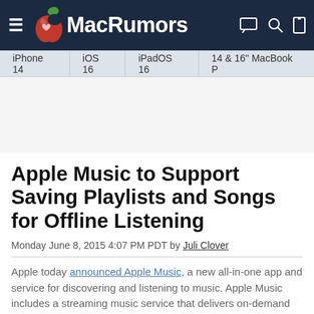MacRumors
iPhone 14 | iOS 16 | iPadOS 16 | 14 & 16" MacBook P
Apple Music to Support Saving Playlists and Songs for Offline Listening
Monday June 8, 2015 4:07 PM PDT by Juli Clover
Apple today announced Apple Music, a new all-in-one app and service for discovering and listening to music. Apple Music includes a streaming music service that delivers on-demand